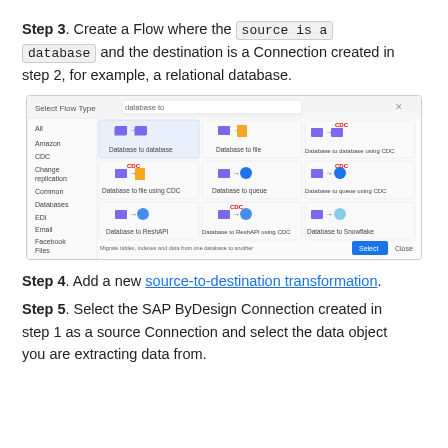Step 3. Create a Flow where the source is a database and the destination is a Connection created in step 2, for example, a relational database.
[Figure (screenshot): Screenshot of Select Flow Type dialog with 'database to' search, showing various database flow type options including Database to database, Database to file, Database to database using CDC, Database to file using CDC, Database to queue, Database to queue using CDC, Database to ReshAPI, Database to ReshAPI using CDC, Database to Snowflake, and others with CDC labels. Select and Close buttons at bottom right.]
Step 4. Add a new source-to-destination transformation.
Step 5. Select the SAP ByDesign Connection created in step 1 as a source Connection and select the data object you are extracting data from.